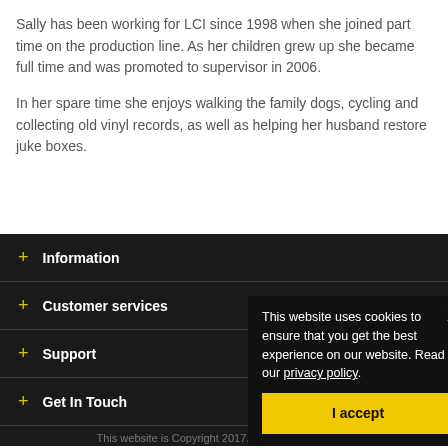Sally has been working for LCI since 1998 when she joined part time on the production line. As her children grew up she became full time and was promoted to supervisor in 2006.
In her spare time she enjoys walking the family dogs, cycling and collecting old vinyl records, as well as helping her husband restore juke boxes.
+ Information
+ Customer services
+ Support
+ Get In Touch
This website is Copyright 2017. All Rights Reserved.
This website uses cookies to ensure that you get the best experience on our website. Read our privacy policy. I accept